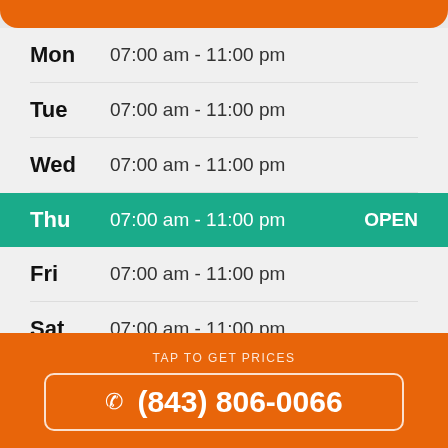| Day | Hours | Status |
| --- | --- | --- |
| Mon | 07:00 am - 11:00 pm |  |
| Tue | 07:00 am - 11:00 pm |  |
| Wed | 07:00 am - 11:00 pm |  |
| Thu | 07:00 am - 11:00 pm | OPEN |
| Fri | 07:00 am - 11:00 pm |  |
| Sat | 07:00 am - 11:00 pm |  |
| Sun | 07:00 am - 11:00 pm |  |
TAP TO GET PRICES
(843) 806-0066